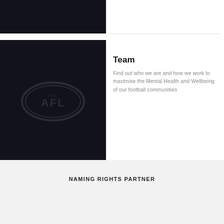[Figure (photo): Dark black rectangular image strip at the top left]
[Figure (photo): Dark black square image with AFL oval logo watermark]
Team
Find out who we are and how we work to maximise the Mental Health and Wellbeing of our football communities
NAMING RIGHTS PARTNER